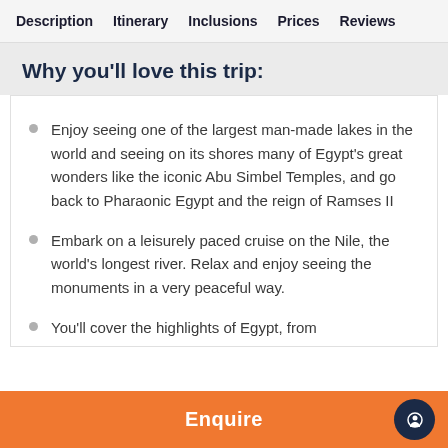Description  Itinerary  Inclusions  Prices  Reviews
Why you'll love this trip:
Enjoy seeing one of the largest man-made lakes in the world and seeing on its shores many of Egypt's great wonders like the iconic Abu Simbel Temples, and go back to Pharaonic Egypt and the reign of Ramses II
Embark on a leisurely paced cruise on the Nile, the world's longest river. Relax and enjoy seeing the monuments in a very peaceful way.
You'll cover the highlights of Egypt, from
Enquire